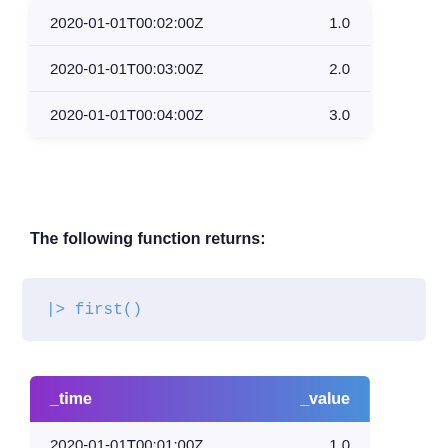| _time | _value |
| --- | --- |
| 2020-01-01T00:02:00Z | 1.0 |
| 2020-01-01T00:03:00Z | 2.0 |
| 2020-01-01T00:04:00Z | 3.0 |
The following function returns:
|> first()
| _time | _value |
| --- | --- |
| 2020-01-01T00:01:00Z | 1.0 |